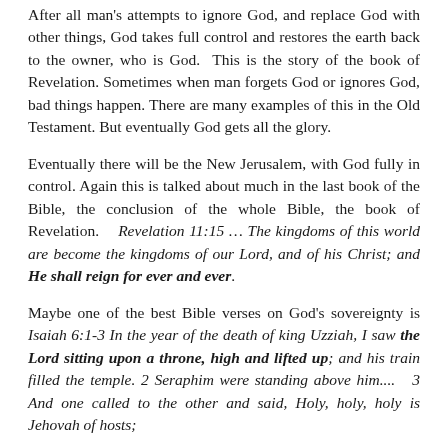After all man's attempts to ignore God, and replace God with other things, God takes full control and restores the earth back to the owner, who is God.  This is the story of the book of Revelation. Sometimes when man forgets God or ignores God, bad things happen. There are many examples of this in the Old Testament. But eventually God gets all the glory.
Eventually there will be the New Jerusalem, with God fully in control. Again this is talked about much in the last book of the Bible, the conclusion of the whole Bible, the book of Revelation.    Revelation 11:15 … The kingdoms of this world are become the kingdoms of our Lord, and of his Christ; and He shall reign for ever and ever.
Maybe one of the best Bible verses on God's sovereignty is Isaiah 6:1-3 In the year of the death of king Uzziah, I saw the Lord sitting upon a throne, high and lifted up; and his train filled the temple. 2 Seraphim were standing above him....  3 And one called to the other and said, Holy, holy, holy is Jehovah of hosts;